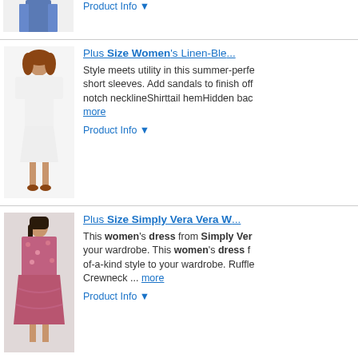[Figure (photo): Partial product image at top of page, cropped woman in denim]
Product Info ▼
Plus Size Women's Linen-Ble...
[Figure (photo): Woman in white linen-blend dress with short sleeves]
Style meets utility in this summer-perfect dress with short sleeves. Add sandals to finish off your look. notch necklineShirttail hemHidden bac... more
Product Info ▼
Plus Size Simply Vera Vera W...
[Figure (photo): Woman in pink/red floral ruffled dress]
This women's dress from Simply Vera... your wardrobe. This women's dress f... of-a-kind style to your wardrobe. Ruffle... Crewneck ... more
Product Info ▼
Women's Simply Vera Vera W...
[Figure (photo): Woman in dark grey/green casual dress by Simply Vera Vera Wang]
You'll love the chic, casual style of this... Vera Vera Wang. You'll love the chic, c... dress by Simply Vera Vera Wang. Ru... more
Product Info ▼
Women's Simply Vera Vera W...
[Figure (photo): Woman in yellow/gold puff sleeve asymmetrical dress by Simply Vera Vera Wang]
Enjoy casual summer style with this w... from Simply Vera Vera Wang. Enjoy c... puff sleeve asymmetrical dress from S... sleeves Flounce hem ... more